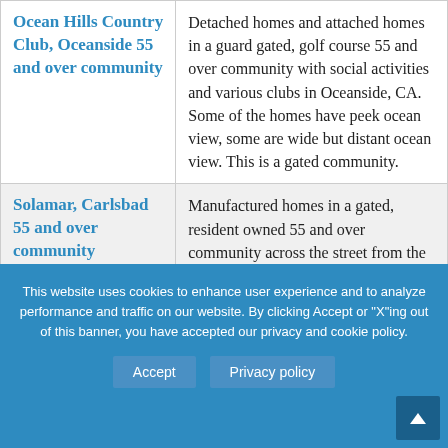| Community | Description |
| --- | --- |
| Ocean Hills Country Club, Oceanside 55 and over community | Detached homes and attached homes in a guard gated, golf course 55 and over community with social activities and various clubs in Oceanside, CA. Some of the homes have peek ocean view, some are wide but distant ocean view. This is a gated community. |
| Solamar, Carlsbad 55 and over community | Manufactured homes in a gated, resident owned 55 and over community across the street from the ocean in Carlsbad, CA. Some of the homes have ocean view, homes for sale are facing Pacific Coast Highway. This is a gated community. |
| Villa Trieste, 55 | Attached condos and twin homes |
This website uses cookies to enhance user experience and to analyze performance and traffic on our website. By clicking Accept or "X"ing out of this banner, you have accepted our privacy and cookie policy.